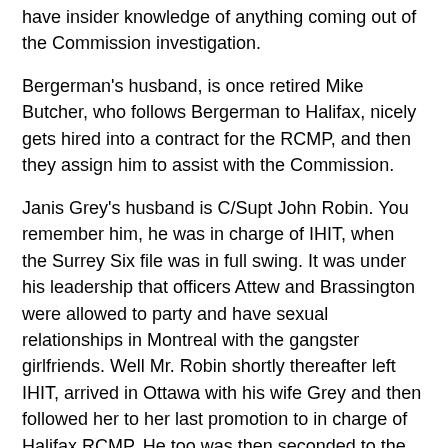have insider knowledge of anything coming out of the Commission investigation.
Bergerman's husband, is once retired Mike Butcher, who follows Bergerman to Halifax, nicely gets hired into a contract for the RCMP, and then they assign him to assist with the Commission.
Janis Grey's husband is C/Supt John Robin. You remember him, he was in charge of IHIT, when the Surrey Six file was in full swing. It was under his leadership that officers Attew and Brassington were allowed to party and have sexual relationships in Montreal with the gangster girlfriends. Well Mr. Robin shortly thereafter left IHIT, arrived in Ottawa with his wife Grey and then followed her to her last promotion to in charge of Halifax RCMP. He too was then seconded to the Commission.